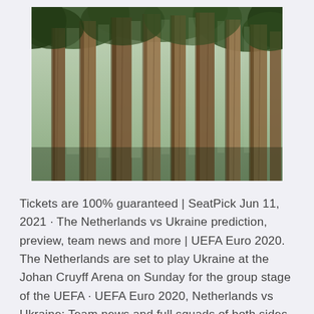[Figure (photo): Looking up through a forest of tall trees with dense canopy, photo taken from ground level looking upward at towering tree trunks and green foliage against a light sky.]
Tickets are 100% guaranteed | SeatPick Jun 11, 2021 · The Netherlands vs Ukraine prediction, preview, team news and more | UEFA Euro 2020. The Netherlands are set to play Ukraine at the Johan Cruyff Arena on Sunday for the group stage of the UEFA · UEFA Euro 2020, Netherlands vs Ukraine: Team news and full squads of both sides Netherlands will take on Ukraine